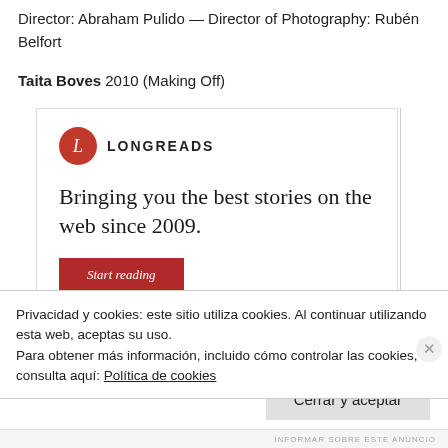Director: Abraham Pulido — Director of Photography: Rubén Belfort
Taita Boves 2010 (Making Off)
[Figure (infographic): Longreads advertisement with logo showing a red circle with 'L', text 'LONGREADS', tagline 'Bringing you the best stories on the web since 2009.' and a red 'Start reading' button]
Privacidad y cookies: este sitio utiliza cookies. Al continuar utilizando esta web, aceptas su uso.
Para obtener más información, incluido cómo controlar las cookies, consulta aquí: Política de cookies
Cerrar y aceptar